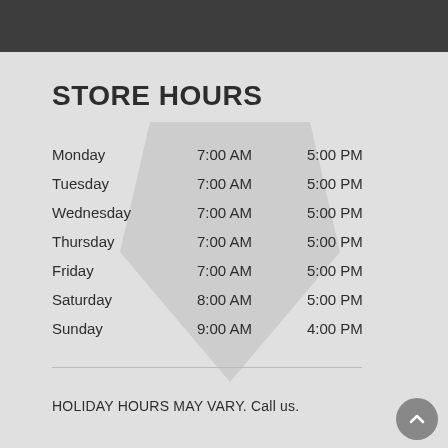STORE HOURS
| Day | Open | Close |
| --- | --- | --- |
| Monday | 7:00 AM | 5:00 PM |
| Tuesday | 7:00 AM | 5:00 PM |
| Wednesday | 7:00 AM | 5:00 PM |
| Thursday | 7:00 AM | 5:00 PM |
| Friday | 7:00 AM | 5:00 PM |
| Saturday | 8:00 AM | 5:00 PM |
| Sunday | 9:00 AM | 4:00 PM |
HOLIDAY HOURS MAY VARY. Call us.